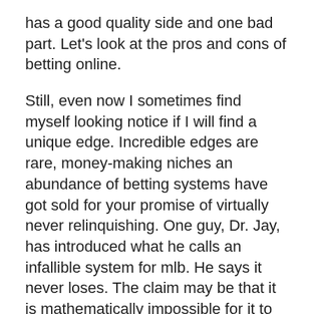has a good quality side and one bad part. Let's look at the pros and cons of betting online.
Still, even now I sometimes find myself looking notice if I will find a unique edge. Incredible edges are rare, money-making niches an abundance of betting systems have got sold for your promise of virtually never relinquishing. One guy, Dr. Jay, has introduced what he calls an infallible system for mlb. He says it never loses. The claim may be that it is mathematically impossible for it to drop off.
https://www.riceballhouse.com will even find no advantage whatsoever have to discard the main idea. It is actually a part of building